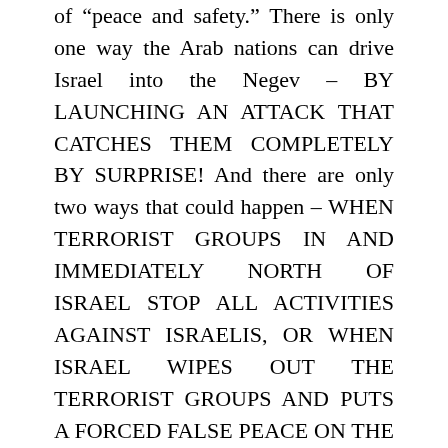of “peace and safety.” There is only one way the Arab nations can drive Israel into the Negev – BY LAUNCHING AN ATTACK THAT CATCHES THEM COMPLETELY BY SURPRISE! And there are only two ways that could happen – WHEN TERRORIST GROUPS IN AND IMMEDIATELY NORTH OF ISRAEL STOP ALL ACTIVITIES AGAINST ISRAELIS, OR WHEN ISRAEL WIPES OUT THE TERRORIST GROUPS AND PUTS A FORCED FALSE PEACE ON THE PALESTINIANS. Either one of these two scenarios will lull Israel into a FALSE SENSE OF SECURITY.
When I wrote Prophecy Update Number 3 in 2001, I actually expected what is happening now to happen before the dawning of 2003, but